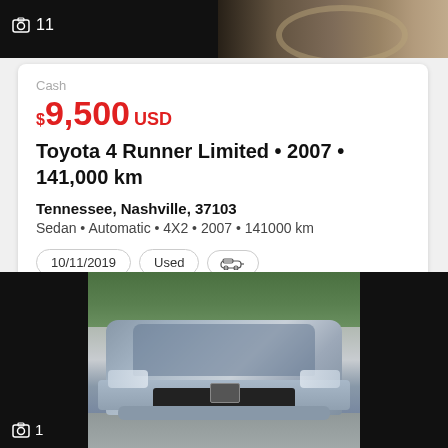[Figure (photo): Top strip showing partial car interior with steering wheel, dark background, camera icon with count '11']
Cash
$9,500 USD
Toyota 4 Runner Limited • 2007 • 141,000 km
Tennessee, Nashville, 37103
Sedan • Automatic • 4X2 • 2007 • 141000 km
10/11/2019   Used   [car icon]
[Figure (photo): Front view of a silver/gray Honda sedan (Honda Accord) in a parking lot with trees in background. Camera icon with count '1' at bottom left.]